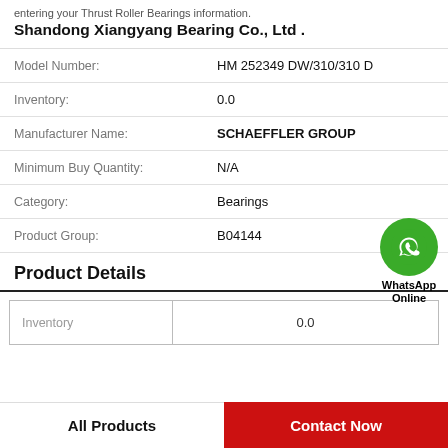entering your Thrust Roller Bearings information. Shandong Xiangyang Bearing Co., Ltd .
| Field | Value |
| --- | --- |
| Model Number: | HM 252349 DW/310/310 D |
| Inventory: | 0.0 |
| Manufacturer Name: | SCHAEFFLER GROUP |
| Minimum Buy Quantity: | N/A |
| Category: | Bearings |
| Product Group: | B04144 |
[Figure (logo): WhatsApp Online green circle icon with phone handset, labeled WhatsApp Online]
Product Details
| Field | Value |
| --- | --- |
| Inventory | 0.0 |
All Products   Contact Now